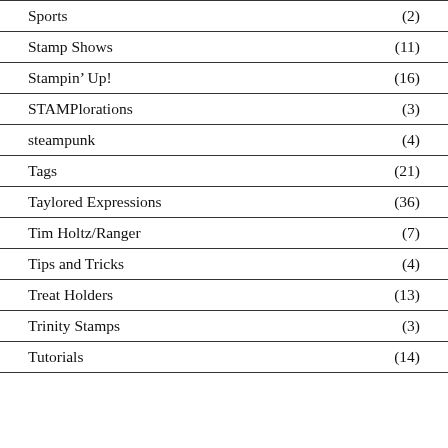Sports (2)
Stamp Shows (11)
Stampin' Up! (16)
STAMPlorations (3)
steampunk (4)
Tags (21)
Taylored Expressions (36)
Tim Holtz/Ranger (7)
Tips and Tricks (4)
Treat Holders (13)
Trinity Stamps (3)
Tutorials (14)